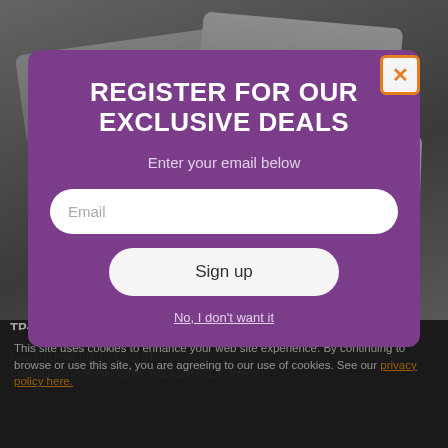[Figure (screenshot): Background product photo showing TP-Link powerline networking devices (white/gray adapters) on a gray surface]
REGISTER FOR OUR EXCLUSIVE DEALS
Enter your email below
Email
Sign up
No, I don't want it
TP-Link Powerline Starter Kit - White
Model: TLP64010KIT   UPC: 845973032039
Compatible with HomePlug Av, 802.3 and 802.3u Internet
This site uses cookies to enhance your web site experience. By continuing to browse or use this site, you are agreeing to our use of cookies. See our privacy policy here.